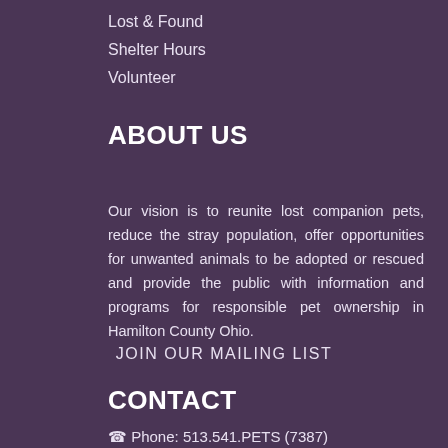Lost & Found
Shelter Hours
Volunteer
ABOUT US
Our vision is to reunite lost companion pets, reduce the stray population, offer opportunities for unwanted animals to be adopted or rescued and provide the public with information and programs for responsible pet ownership in Hamilton County Ohio.
JOIN OUR MAILING LIST
CONTACT
Phone: 513.541.PETS (7387)